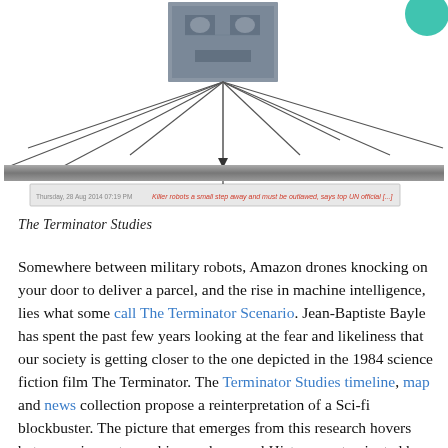[Figure (network-graph): A network diagram showing lines radiating from a central photo of the Terminator robot to various nodes and a news headline bar at the bottom reading 'Killer robots a small step away and must be outlawed, says top UN official [...]'. A teal/green circle is visible at the top right.]
The Terminator Studies
Somewhere between military robots, Amazon drones knocking on your door to deliver a parcel, and the rise in machine intelligence, lies what some call The Terminator Scenario. Jean-Baptiste Bayle has spent the past few years looking at the fear and likeliness that our society is getting closer to the one depicted in the 1984 science fiction film The Terminator. The Terminator Studies timeline, map and news collection propose a reinterpretation of a Sci-fi blockbuster. The picture that emerges from this research hovers between cinematographic prophecy and History contaminated by fiction.